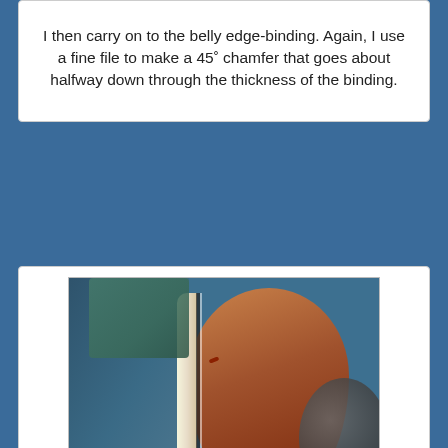I then carry on to the belly edge-binding. Again, I use a fine file to make a 45° chamfer that goes about halfway down through the thickness of the binding.
[Figure (photo): Close-up photo of a guitar's belly edge binding, showing the cream/white binding strip along the edge of a wooden guitar body being held, with a pencil mark visible and blurred background of workshop materials.]
Then I round those two newly-created edges over, until I've got a very friendly-feeling edge. Remember, the bottom of this belly edge will be